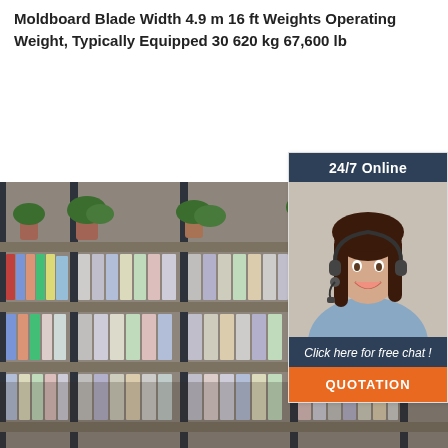Moldboard Blade Width 4.9 m 16 ft Weights Operating Weight, Typically Equipped 30 620 kg 67,600 lb
[Figure (other): Orange 'Get Price' button]
[Figure (photo): Photo of pharmacy/library shelves stocked with books and products]
[Figure (infographic): Sidebar widget with '24/7 Online' header, photo of woman with headset, 'Click here for free chat!' text, and orange QUOTATION button]